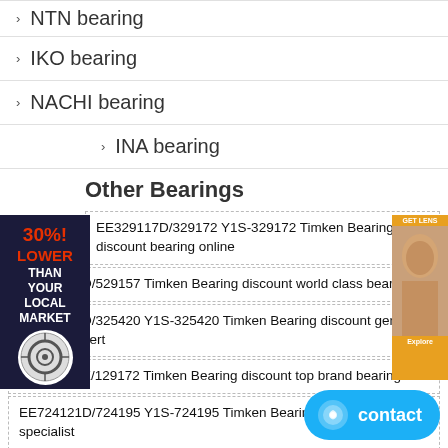NTN bearing
IKO bearing
NACHI bearing
INA bearing
Other Bearings
EE329117D/329172 Y1S-329172 Timken Bearing discount bearing online
EE529091D/529157 Timken Bearing discount world class bearing
EE325296D/325420 Y1S-325420 Timken Bearing discount genuine bearing expert
EE129120X/129172 Timken Bearing discount top brand bearing
EE724121D/724195 Y1S-724195 Timken Bearing discount bearing specialist
6004-RSH SKF Bearing discount millions of bea...
L770849D/L770810 A NTN Bearing discount fin...
S71928CD/HCP4A SKF Bearing discount bearing online store